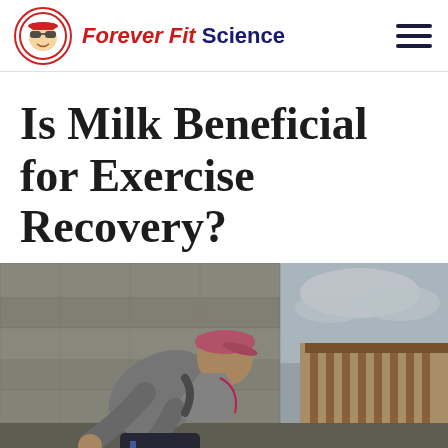Forever Fit Science
Is Milk Beneficial for Exercise Recovery?
[Figure (photo): Woman in gray hoodie and pink cap leaning forward outdoors, appearing exhausted after exercise, with stone wall and wooden balcony in background]